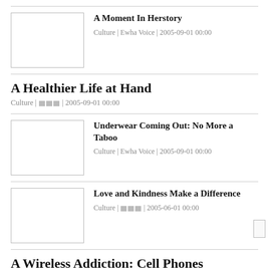[Figure (other): Thumbnail image placeholder for article]
A Moment In Herstory
Culture | Ewha Voice | 2005-09-01 00:00
A Healthier Life at Hand
Culture | ☒☒☒ | 2005-09-01 00:00
[Figure (other): Thumbnail image placeholder for article]
Underwear Coming Out: No More a Taboo
Culture | Ewha Voice | 2005-09-01 00:00
[Figure (other): Thumbnail image placeholder for article]
Love and Kindness Make a Difference
Culture | ☒☒☒ | 2005-06-01 00:00
A Wireless Addiction: Cell Phones